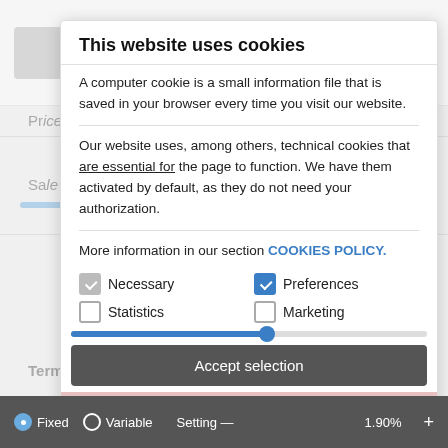This website uses cookies
A computer cookie is a small information file that is saved in your browser every time you visit our website.
Our website uses, among others, technical cookies that are essential for the page to function. We have them activated by default, as they do not need your authorization.
More information in our section COOKIES POLICY.
Necessary
Preferences
Statistics
Marketing
Accept selection
interest
Accept all cookies
Fixed  Variable  Setting  1.90%  +